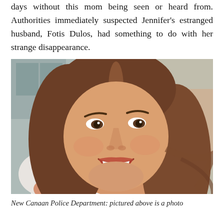days without this mom being seen or heard from. Authorities immediately suspected Jennifer's estranged husband, Fotis Dulos, had something to do with her strange disappearance.
[Figure (photo): Close-up photo of a smiling woman with long brown hair, wearing a white top, photographed outdoors with a blurred background.]
New Canaan Police Department: pictured above is a photo